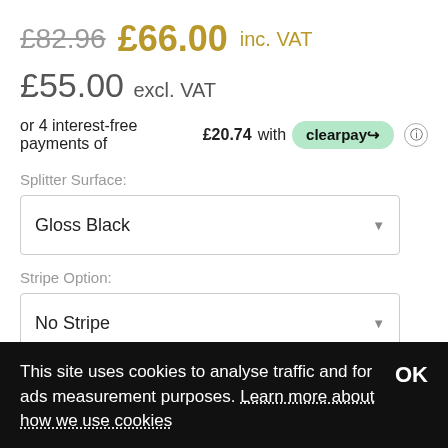£82.96  £66.00 inc. VAT
£55.00 excl. VAT
or 4 interest-free payments of £20.74 with clearpay
Splitter Surface:
Gloss Black
Stripe Option:
No Stripe
Quantity
This site uses cookies to analyse traffic and for ads measurement purposes. Learn more about how we use cookies  OK